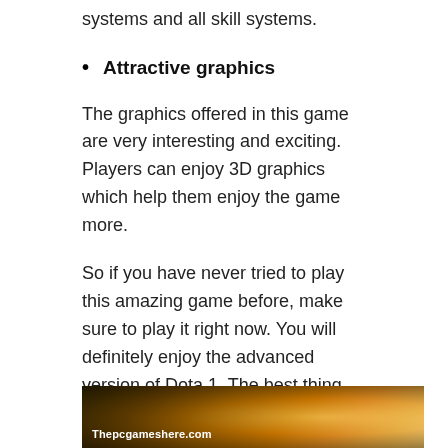systems and all skill systems.
Attractive graphics
The graphics offered in this game are very interesting and exciting. Players can enjoy 3D graphics which help them enjoy the game more.
So if you have never tried to play this amazing game before, make sure to play it right now. You will definitely enjoy the advanced version of Dota 1. The best thing about this game is that it is supported on all gaming platforms, making it a great choice for game lovers.
[Figure (photo): Promotional banner image for a game website with text 'Thepcgameshere.com' and glowing fantasy-style game art showing a character with orange/gold lighting]